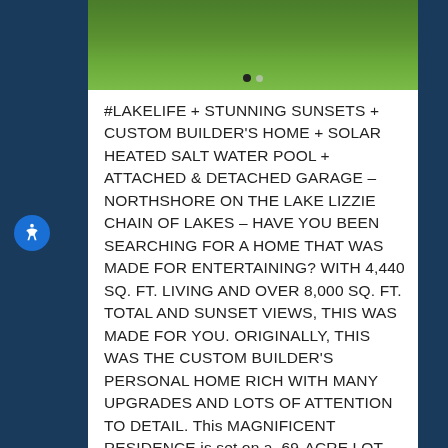[Figure (photo): Aerial or ground-level photo of green grass lawn, with dot/carousel indicators at the bottom center]
#LAKELIFE + STUNNING SUNSETS + CUSTOM BUILDER'S HOME + SOLAR HEATED SALT WATER POOL + ATTACHED & DETACHED GARAGE – NORTHSHORE ON THE LAKE LIZZIE CHAIN OF LAKES – HAVE YOU BEEN SEARCHING FOR A HOME THAT WAS MADE FOR ENTERTAINING? WITH 4,440 SQ. FT. LIVING AND OVER 8,000 SQ. FT. TOTAL AND SUNSET VIEWS, THIS WAS MADE FOR YOU. ORIGINALLY, THIS WAS THE CUSTOM BUILDER'S PERSONAL HOME RICH WITH MANY UPGRADES AND LOTS OF ATTENTION TO DETAIL. This MAGNIFICENT RESIDENCE is set on a .69-ACRE LOT with GORGEOUS views of LAKE LIZZIE. A water lover's dream home, the